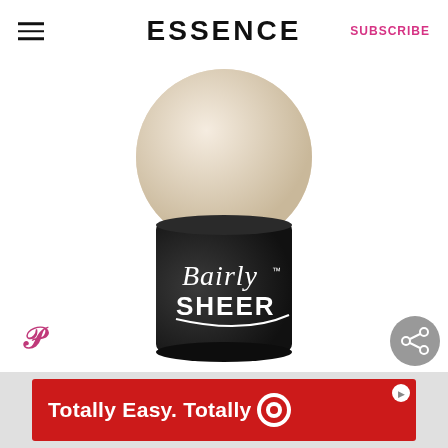ESSENCE | SUBSCRIBE
[Figure (photo): A makeup powder brush applicator with a round beige sponge top and a black cylindrical handle labeled 'Bairly SHEER' in white script and bold text]
[Figure (logo): Pinterest P logo icon in pink/purple]
[Figure (logo): Share/network icon in grey circle]
[Figure (other): Target advertisement banner: red background with white text 'Totally Easy. Totally' and Target bullseye logo]